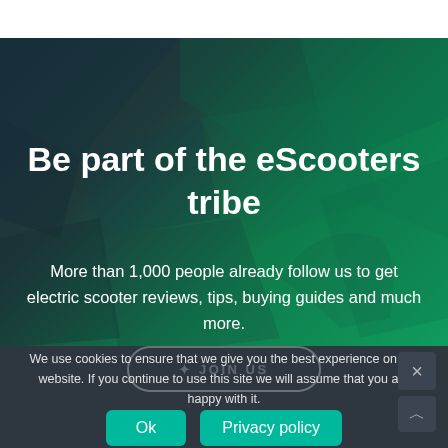Be part of the eScooters tribe
More than 1,000 people already follow us to get electric scooter reviews, tips, buying guides and much more.
We use cookies to ensure that we give you the best experience on our website. If you continue to use this site we will assume that you are happy with it.
Ok
Privacy policy